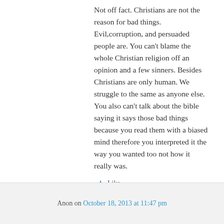Not off fact. Christians are not the reason for bad things. Evil,corruption, and persuaded people are. You can't blame the whole Christian religion off an opinion and a few sinners. Besides Christians are only human. We struggle to the same as anyone else. You also can't talk about the bible saying it says those bad things because you read them with a biased mind therefore you interpreted it the way you wanted too not how it really was.
★ Like
↪ Reply
Anon on October 18, 2013 at 11:47 pm